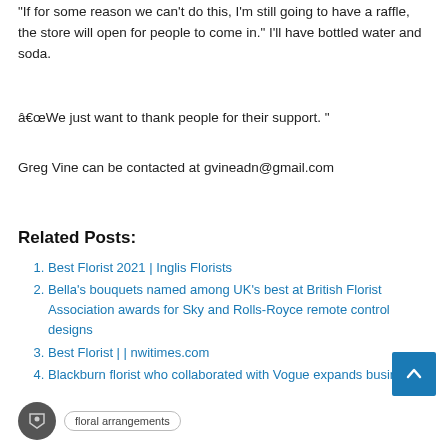"If for some reason we can't do this, I'm still going to have a raffle, the store will open for people to come in." I'll have bottled water and soda.
“We just want to thank people for their support. "
Greg Vine can be contacted at gvineadn@gmail.com
Related Posts:
Best Florist 2021 | Inglis Florists
Bella’s bouquets named among UK’s best at British Florist Association awards for Sky and Rolls-Royce remote control designs
Best Florist | | nwitimes.com
Blackburn florist who collaborated with Vogue expands business
floral arrangements